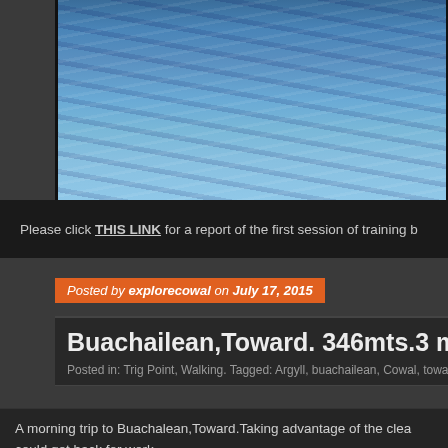[Figure (photo): Water surface / ocean waves photograph, blue tones]
Please click THIS LINK for a report of the first session of training b
Posted by explorecowal on July 17, 2015
Buachailean,Toward. 346mts.3 mile
Posted in: Trig Point, Walking. Tagged: Argyll, buachailean, Cowal, toward, Tr
A morning trip to Buachalean,Toward.Taking advantage of the clea could get back for work.
Leaving from the FCS car park at Ardyne,turning right once on the